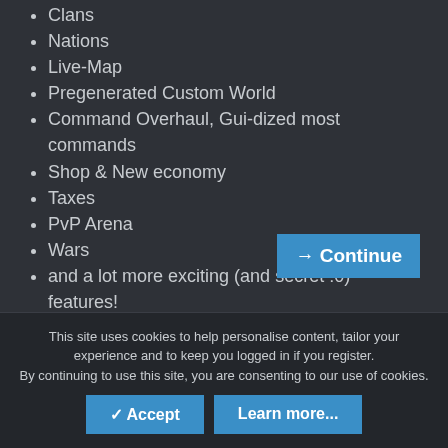Clans
Nations
Live-Map
Pregenerated Custom World
Command Overhaul, Gui-dized most commands
Shop & New economy
Taxes
PvP Arena
Wars
and a lot more exciting (and secret :0) features!
To clear up some confusion about the most controversial points in...
→ Continue
This site uses cookies to help personalise content, tailor your experience and to keep you logged in if you register.
By continuing to use this site, you are consenting to our use of cookies.
✓ Accept
Learn more...